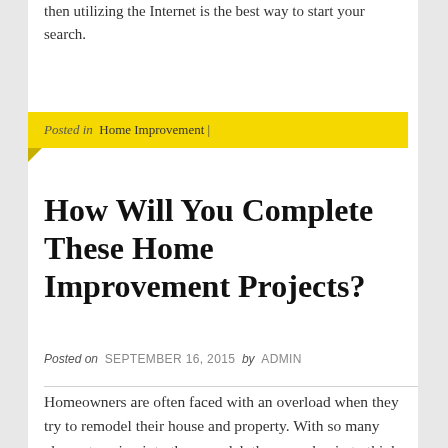then utilizing the Internet is the best way to start your search.
Posted in Home Improvement |
How Will You Complete These Home Improvement Projects?
Posted on SEPTEMBER 16, 2015 by ADMIN
Homeowners are often faced with an overload when they try to remodel their house and property. With so many elements going into the remodel, they may begin to think they have overdone it or have gotten in over their head. Hiring the right people to help with the projects will help to alleviate the burden that many face